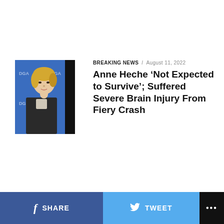[Figure (photo): Photo of Anne Heche at an event, wearing a black outfit, against a blue backdrop with DGA logos. A black strip is on the right side of the image.]
BREAKING NEWS / August 11, 2022
Anne Heche ‘Not Expected to Survive’; Suffered Severe Brain Injury From Fiery Crash
f SHARE   TWEET   ...